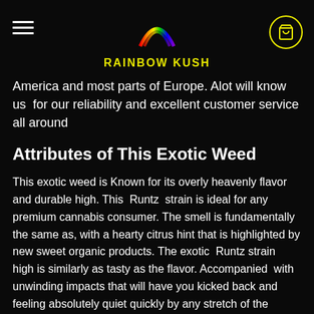RAINBOW KUSH
America and most parts of Europe. Alot will know us for our reliability and excellent customer service all around
Attributes of This Exotic Weed
This exotic weed is Known for its overly heavenly flavor and durable high. This Runtz strain is ideal for any premium cannabis consumer. The smell is fundamentally the same as, with a hearty citrus hint that is highlighted by new sweet organic products. The exotic Runtz strain high is similarly as tasty as the flavor. Accompanied with unwinding impacts that will have you kicked back and feeling absolutely quiet quickly by any stretch of the imagination.
RELATED PRODUCTS